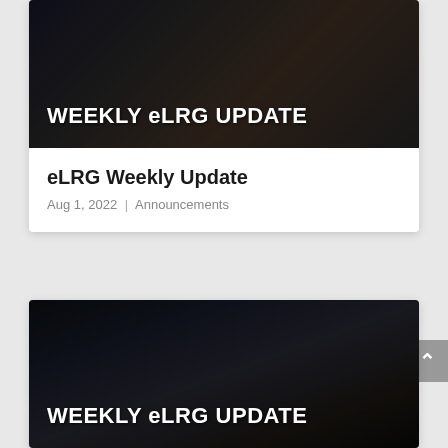[Figure (photo): Dark nighttime or dusk photo of an urban streetscape with buildings and a fence, overlaid with white bold text reading WEEKLY eLRG UPDATE]
eLRG Weekly Update
Aug 1, 2022 | Announcements
[Figure (photo): Dark nighttime photo of a modern building exterior with roof overhang and trees, overlaid with white bold text reading WEEKLY eLRG UPDATE]